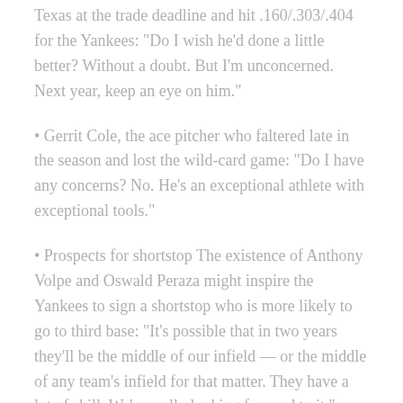Texas at the trade deadline and hit .160/.303/.404 for the Yankees: “Do I wish he’d done a little better? Without a doubt. But I’m unconcerned. Next year, keep an eye on him.”
Gerrit Cole, the ace pitcher who faltered late in the season and lost the wild-card game: “Do I have any concerns? No. He’s an exceptional athlete with exceptional tools.”
Prospects for shortstop The existence of Anthony Volpe and Oswald Peraza might inspire the Yankees to sign a shortstop who is more likely to go to third base: “It’s possible that in two years they’ll be the middle of our infield — or the middle of any team’s infield for that matter. They have a lot of skill. We’re really looking forward to it.”
About the chances of a deal, Steinbrenner, who sits on the